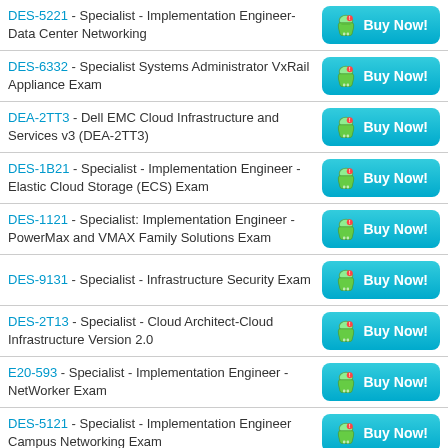DES-5221 - Specialist - Implementation Engineer- Data Center Networking
DES-6332 - Specialist Systems Administrator VxRail Appliance Exam
DEA-2TT3 - Dell EMC Cloud Infrastructure and Services v3 (DEA-2TT3)
DES-1B21 - Specialist - Implementation Engineer - Elastic Cloud Storage (ECS) Exam
DES-1121 - Specialist: Implementation Engineer - PowerMax and VMAX Family Solutions Exam
DES-9131 - Specialist - Infrastructure Security Exam
DES-2T13 - Specialist - Cloud Architect-Cloud Infrastructure Version 2.0
E20-593 - Specialist - Implementation Engineer - NetWorker Exam
DES-5121 - Specialist - Implementation Engineer Campus Networking Exam